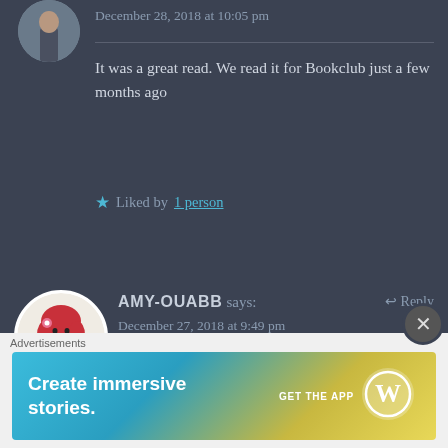[Figure (illustration): Partial circular avatar showing a person walking, positioned at top-left. Only the bottom half visible.]
December 28, 2018 at 10:05 pm
It was a great read. We read it for Bookclub just a few months ago
Liked by 1 person
[Figure (illustration): Circular avatar of Amy-Ouabb showing an animated woman with red hair reading a book, wearing a teal outfit.]
AMY-OUABB says:
Reply
December 27, 2018 at 9:49 pm
What a great year for reading! Lots of luck on your 2019 challenge. I look forward to hearing how you do with it.
Advertisements
Create immersive stories. GET THE APP